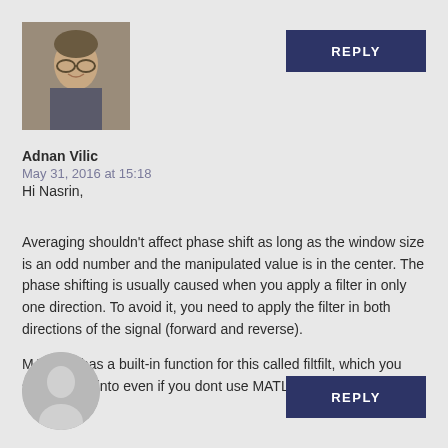[Figure (photo): Profile photo of Adnan Vilic, a man with glasses smiling]
REPLY
Adnan Vilic
May 31, 2016 at 15:18
Hi Nasrin,
Averaging shouldn't affect phase shift as long as the window size is an odd number and the manipulated value is in the center. The phase shifting is usually caused when you apply a filter in only one direction. To avoid it, you need to apply the filter in both directions of the signal (forward and reverse).
MATLAB has a built-in function for this called filtfilt, which you should look into even if you dont use MATLAB 🙂
[Figure (photo): Default/anonymous user avatar silhouette]
REPLY